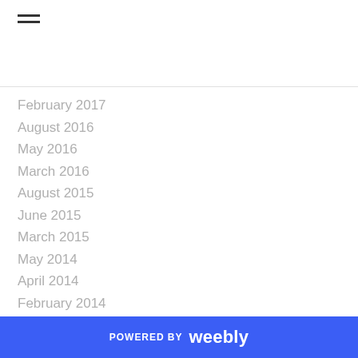February 2017
August 2016
May 2016
March 2016
August 2015
June 2015
March 2015
May 2014
April 2014
February 2014
December 2013
June 2013
January 2013
September 2012
March 2012
December 2011
POWERED BY weebly